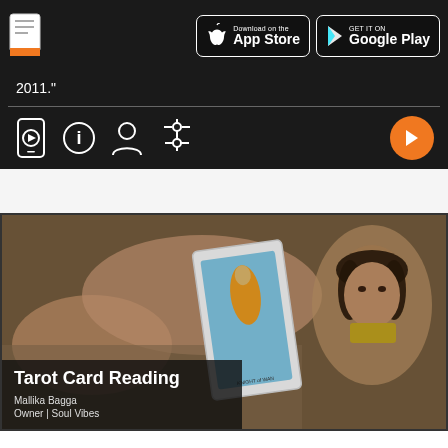[Figure (screenshot): App store download buttons: Download on the App Store and Get it on Google Play, with document icon on left]
2011."
[Figure (screenshot): Media player controls bar with phone, info, person, settings icons and orange play button]
[Figure (photo): Tarot Card Reading video thumbnail showing hands holding a Knight of Wands tarot card with a woman's face visible on the right. Overlay text: Tarot Card Reading, Mallika Bagga, Owner | Soul Vibes]